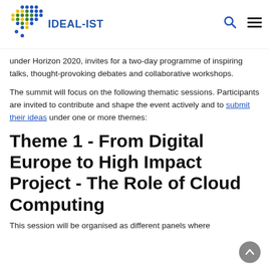IDEAL-IST
under Horizon 2020, invites for a two-day programme of inspiring talks, thought-provoking debates and collaborative workshops.
The summit will focus on the following thematic sessions. Participants are invited to contribute and shape the event actively and to submit their ideas under one or more themes:
Theme 1 - From Digital Europe to High Impact Project - The Role of Cloud Computing
This session will be organised as different panels where